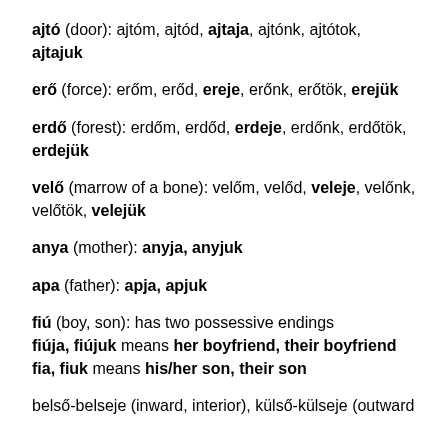ajtó (door): ajtóm, ajtód, ajtaja, ajtónk, ajtótok, ajtajuk
erő (force): erőm, erőd, ereje, erőnk, erőtök, erejük
erdő (forest): erdőm, erdőd, erdeje, erdőnk, erdőtök, erdejük
velő (marrow of a bone): velőm, velőd, veleje, velőnk, velőtök, velejük
anya (mother): anyja, anyjuk
apa (father): apja, apjuk
fiú (boy, son): has two possessive endings
fiúja, fiújuk means her boyfriend, their boyfriend
fia, fiuk means his/her son, their son
belső-belseje (inward, interior), külső-külseje (outward